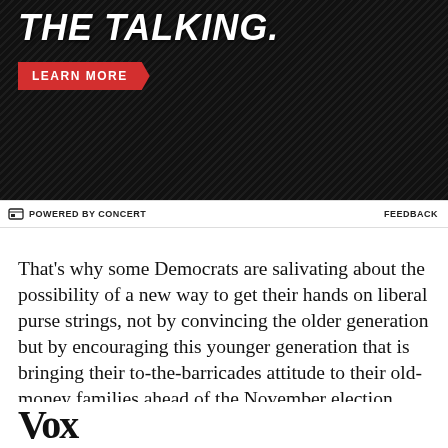[Figure (photo): Dark background advertisement image with italic bold white text reading 'THE TALKING.' and a red 'LEARN MORE' button]
POWERED BY CONCERT    FEEDBACK
That's why some Democrats are salivating about the possibility of a new way to get their hands on liberal purse strings, not by convincing the older generation but by encouraging this younger generation that is bringing their to-the-barricades attitude to their old-money families ahead of the November election.
If the kids win, liberals think they could usher
Vox